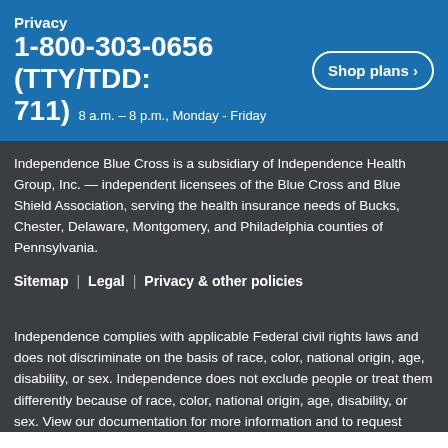Privacy 1-800-303-0656 (TTY/TDD: 711) 8 a.m. – 8 p.m., Monday - Friday | Shop plans ›
Independence Blue Cross is a subsidiary of Independence Health Group, Inc. — independent licensees of the Blue Cross and Blue Shield Association, serving the health insurance needs of Bucks, Chester, Delaware, Montgomery, and Philadelphia counties of Pennsylvania.
Sitemap   |   Legal   |   Privacy & other policies
Independence complies with applicable Federal civil rights laws and does not discriminate on the basis of race, color, national origin, age, disability, or sex. Independence does not exclude people or treat them differently because of race, color, national origin, age, disability, or sex. View our documentation for more information and to request